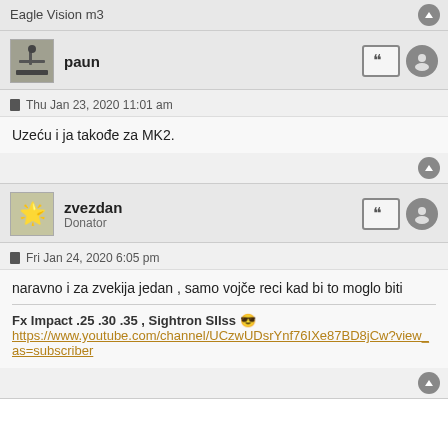Eagle Vision m3
paun
Thu Jan 23, 2020 11:01 am
Uzeću i ja takođe za MK2.
zvezdan
Donator
Fri Jan 24, 2020 6:05 pm
naravno i za zvekija jedan , samo vojče reci kad bi to moglo biti
Fx Impact .25 .30 .35 , Sightron SIIss 😎
https://www.youtube.com/channel/UCzwUDsrYnf76IXe87BD8jCw?view_as=subscriber